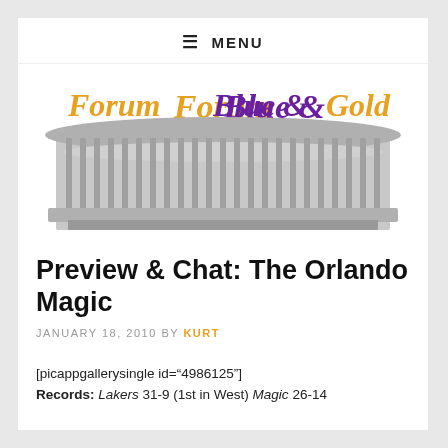≡ MENU
[Figure (logo): Forum Blue & Gold logo with cursive styled text above a black and white photo of the Forum arena building]
Preview & Chat: The Orlando Magic
JANUARY 18, 2010 BY KURT
[picappgallerysingle id="4986125"] Records: Lakers 31-9 (1st in West) Magic 26-14